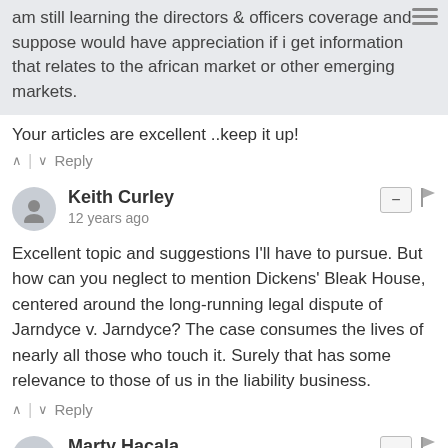am still learning the directors & officers coverage and suppose would have appreciation if i get information that relates to the african market or other emerging markets.
Your articles are excellent ..keep it up!
Keith Curley
12 years ago
Excellent topic and suggestions I'll have to pursue. But how can you neglect to mention Dickens' Bleak House, centered around the long-running legal dispute of Jarndyce v. Jarndyce? The case consumes the lives of nearly all those who touch it. Surely that has some relevance to those of us in the liability business.
Marty Hacala
12 years ago
Great list. I have two suggestions. First, JR by William Gaddis. The novel is about an eleven year old stock market tycoon. It's a very difficult read because Gaddis writes almost entirely in dialogue without attribution. Well worth it though if you have a